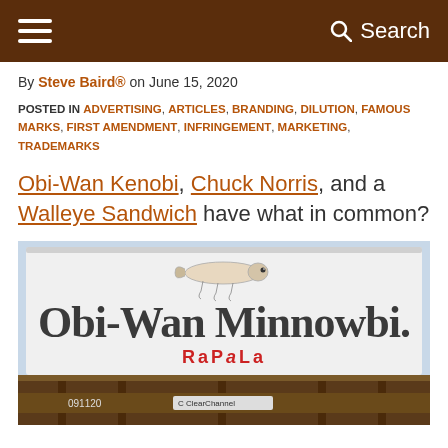≡  Search
By Steve Baird® on June 15, 2020
POSTED IN ADVERTISING, ARTICLES, BRANDING, DILUTION, FAMOUS MARKS, FIRST AMENDMENT, INFRINGEMENT, MARKETING, TRADEMARKS
Obi-Wan Kenobi, Chuck Norris, and a Walleye Sandwich have what in common?
[Figure (photo): Billboard advertisement by Rapala showing a fishing lure above the text 'Obi-Wan Minnowbi.' with the Rapala logo in red below. Billboard mounted on a truck structure with ClearChannel branding visible at the bottom.]